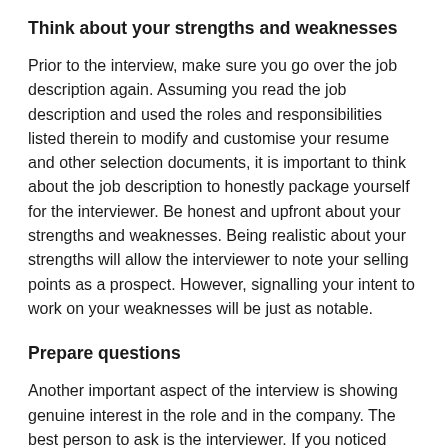Think about your strengths and weaknesses
Prior to the interview, make sure you go over the job description again. Assuming you read the job description and used the roles and responsibilities listed therein to modify and customise your resume and other selection documents, it is important to think about the job description to honestly package yourself for the interviewer. Be honest and upfront about your strengths and weaknesses. Being realistic about your strengths will allow the interviewer to note your selling points as a prospect. However, signalling your intent to work on your weaknesses will be just as notable.
Prepare questions
Another important aspect of the interview is showing genuine interest in the role and in the company. The best person to ask is the interviewer. If you noticed something